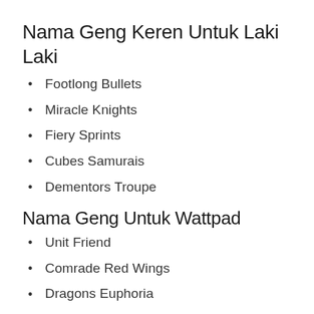Nama Geng Keren Untuk Laki Laki
Footlong Bullets
Miracle Knights
Fiery Sprints
Cubes Samurais
Dementors Troupe
Nama Geng Untuk Wattpad
Unit Friend
Comrade Red Wings
Dragons Euphoria
Penguins Naturals